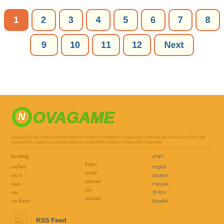Pagination: 1 (active), 2, 3, 4, 5, 6, 7, 8, 9, 10, 11, 12, Next
[Figure (logo): NovaGame logo in green italic bold text]
Body text in Thai/Asian script describing the site
Column links in Thai/Asian script and language links: English, Deutsch, Français, 한국어, Español
RSS Feed